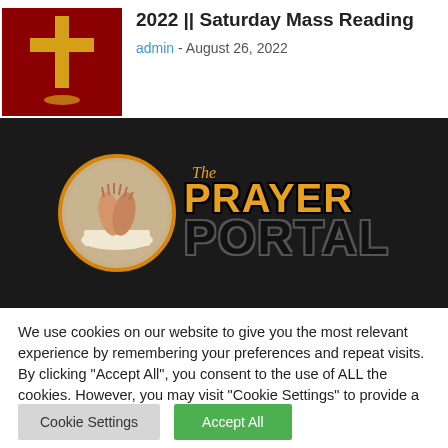[Figure (photo): Red book with golden cross on cover]
2022 || Saturday Mass Reading
admin - August 26, 2022
[Figure (logo): The Prayer Portal logo on dark background with circular praying hands image]
We use cookies on our website to give you the most relevant experience by remembering your preferences and repeat visits. By clicking "Accept All", you consent to the use of ALL the cookies. However, you may visit "Cookie Settings" to provide a controlled consent.
Cookie Settings
Accept All